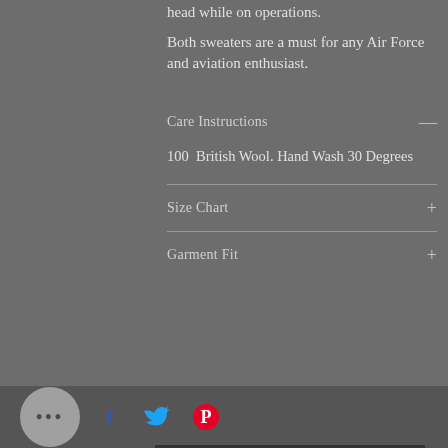head while on operations.
Both sweaters are a must for any Air Force and aviation enthusiast.
Care Instructions
100% British Wool. Hand Wash 30 Degrees
Size Chart
Garment Fit
[Figure (infographic): Bottom bar with dots circle button and social sharing icons for Facebook (blue f), Twitter (blue bird), and Pinterest (red P)]